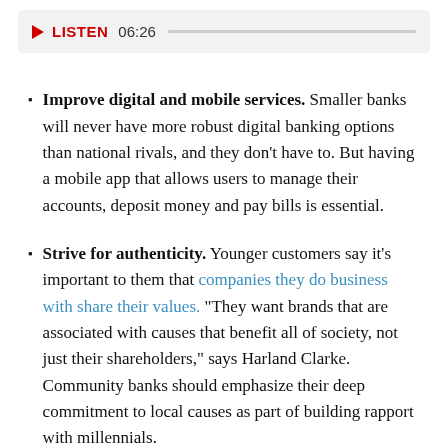[Figure (other): Audio player bar showing a red play button, LISTEN label in red, duration 06:26, and a progress track]
Improve digital and mobile services. Smaller banks will never have more robust digital banking options than national rivals, and they don't have to. But having a mobile app that allows users to manage their accounts, deposit money and pay bills is essential.
Strive for authenticity. Younger customers say it's important to them that companies they do business with share their values. “They want brands that are associated with causes that benefit all of society, not just their shareholders,” says Harland Clarke. Community banks should emphasize their deep commitment to local causes as part of building rapport with millennials.
Focus on relationship-building. Smaller banks and credit